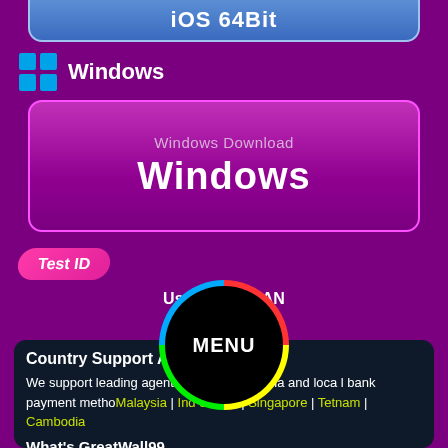[Figure (screenshot): iOS 64Bit download button at top, blue gradient rounded rectangle]
Windows
[Figure (screenshot): Windows Download button, pink/magenta gradient rounded rectangle with text 'Windows Download' and 'Windows']
Test ID
Username: NAN
Password: NAN
Country Support Agent
We support leading agents in Southeast Asia and local bank payment methods by country : Malaysia | Indonesia | Singapore | Thailand | Vietnam | Cambodia
What's GreatWall99
⚡ GreatWall99 Download ⚡ Claim MYR15 GreatWall99 Free Credit No Deposit 2022
[Figure (logo): MENU circle button with rainbow ring border overlay in center of page]